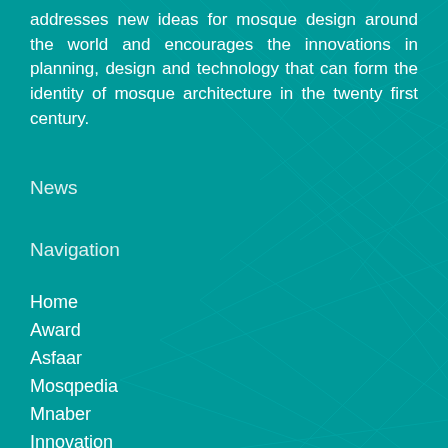addresses new ideas for mosque design around the world and encourages the innovations in planning, design and technology that can form the identity of mosque architecture in the twenty first century.
News
Navigation
Home
Award
Asfaar
Mosqpedia
Mnaber
Innovation
Contact Us
Log In